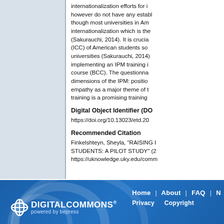internationalization efforts for i... however do not have any establ... though most universities in Am... internationalization which is the... (Sakurauchi, 2014). It is crucia... (ICC) of American students so... universities (Sakurauchi, 2014)... implementing an IPM training i... course (BCC). The questionna... dimensions of the IPM: positio... empathy as a major theme of t... training is a promising training...
Digital Object Identifier (DO...
https://doi.org/10.13023/etd.20...
Recommended Citation
Finkelshteyn, Sheyla, "RAISING I... STUDENTS: A PILOT STUDY" (2... https://uknowledge.uky.edu/comm...
[Figure (logo): Digital Commons powered by bepress logo in white on blue footer]
Home | About | FAQ | ... Privacy | Copyright